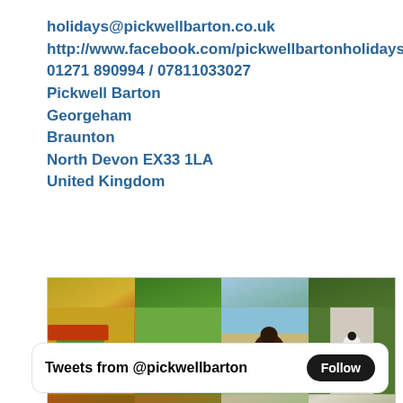holidays@pickwellbarton.co.uk
http://www.facebook.com/pickwellbartonholidays
01271 890994 / 07811033027
Pickwell Barton
Georgeham
Braunton
North Devon EX33 1LA
United Kingdom
[Figure (photo): Strip of four farm/countryside photos: combine harvester in wheat field, chickens on green grass, children with a horse on a beach, sheep walking down a lane]
Tweets from @pickwellbarton  Follow